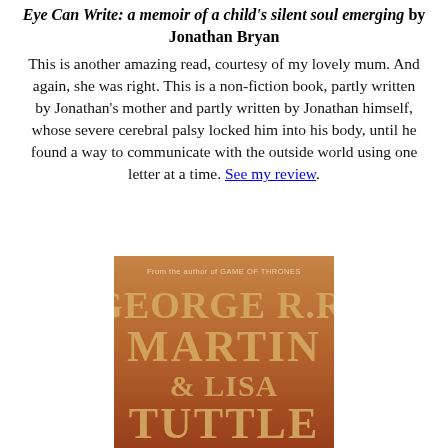Eye Can Write: a memoir of a child's silent soul emerging by Jonathan Bryan
This is another amazing read, courtesy of my lovely mum. And again, she was right. This is a non-fiction book, partly written by Jonathan's mother and partly written by Jonathan himself, whose severe cerebral palsy locked him into his body, until he found a way to communicate with the outside world using one letter at a time. See my review.
[Figure (photo): Book cover showing 'George R.R. Martin & Lisa Tuttle' with orange/red gradient background, text 'From the author of GAME OF THRONES' at top]